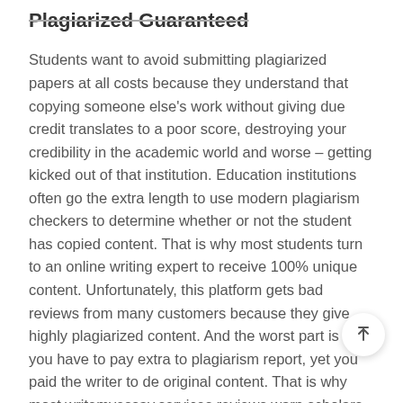Plagiarized Guaranteed
Students want to avoid submitting plagiarized papers at all costs because they understand that copying someone else's work without giving due credit translates to a poor score, destroying your credibility in the academic world and worse – getting kicked out of that institution. Education institutions often go the extra length to use modern plagiarism checkers to determine whether or not the student has copied content. That is why most students turn to an online writing expert to receive 100% unique content. Unfortunately, this platform gets bad reviews from many customers because they give highly plagiarized content. And the worst part is that you have to pay extra to plagiarism report, yet you paid the writer to de original content. That is why most writemyessay.services reviews warn scholars to avoid placing an order on the platform and recommend seeking other online companies. Since